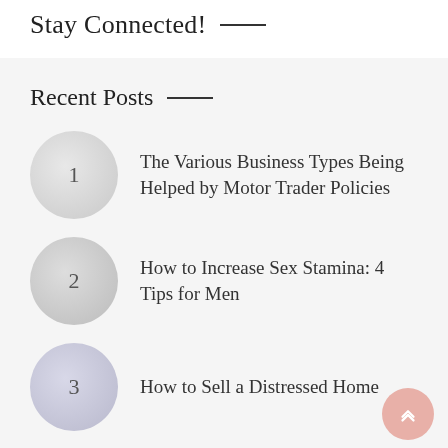Stay Connected!
Recent Posts
1 The Various Business Types Being Helped by Motor Trader Policies
2 How to Increase Sex Stamina: 4 Tips for Men
3 How to Sell a Distressed Home